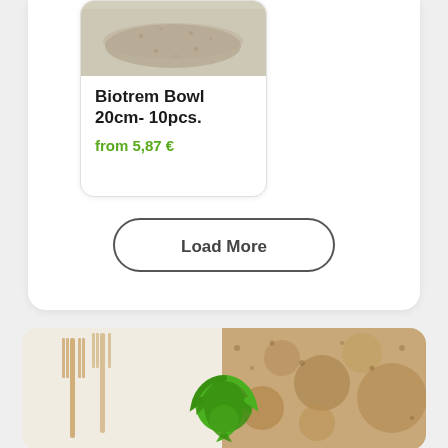[Figure (photo): Product photo of Biotrem Bowl - top portion visible at top of card]
Biotrem Bowl 20cm- 10pcs.
from 5,87 €
Load More
[Figure (photo): Background photo showing biodegradable tableware (forks, bowls made from wheat bran) with green eco logo overlay]